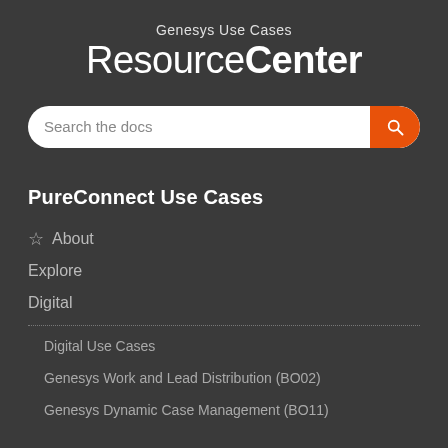Genesys Use Cases ResourceCenter
Search the docs
PureConnect Use Cases
About
Explore
Digital
Digital Use Cases
Genesys Work and Lead Distribution (BO02)
Genesys Dynamic Case Management (BO11)